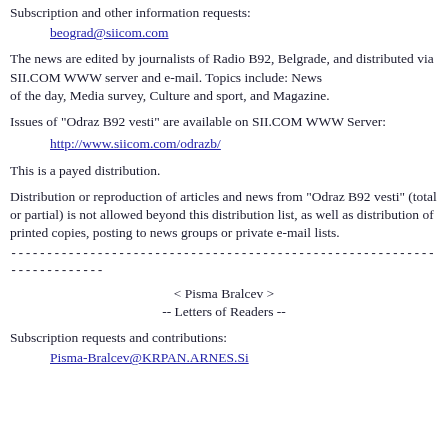Subscription and other information requests:
beograd@siicom.com
The news are edited by journalists of Radio B92, Belgrade, and distributed via SII.COM WWW server and e-mail. Topics include: News of the day, Media survey, Culture and sport, and Magazine.
Issues of "Odraz B92 vesti" are available on SII.COM WWW Server:
http://www.siicom.com/odrazb/
This is a payed distribution.
Distribution or reproduction of articles and news from "Odraz B92 vesti" (total or partial) is not allowed beyond this distribution list, as well as distribution of printed copies, posting to news groups or private e-mail lists.
------------------------------------------------------------------------
< Pisma Bralcev >
-- Letters of Readers --
Subscription requests and contributions:
Pisma-Bralcev@KRPAN.ARNES.Si